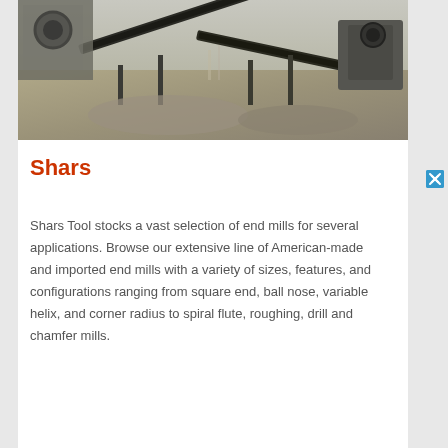[Figure (photo): Industrial quarry or mining site with conveyor belts, aggregate materials, steel structures and machinery for processing stone or gravel.]
Shars
Shars Tool stocks a vast selection of end mills for several applications. Browse our extensive line of American-made and imported end mills with a variety of sizes, features, and configurations ranging from square end, ball nose, variable helix, and corner radius to spiral flute, roughing, drill and chamfer mills.